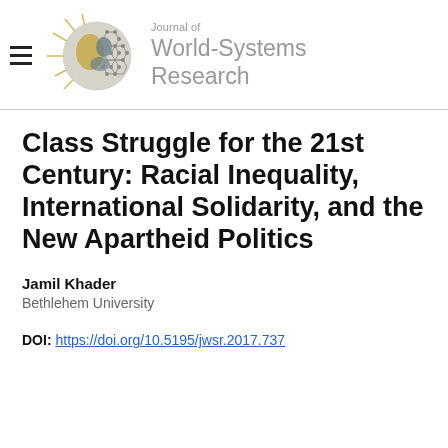Journal of World-Systems Research
Class Struggle for the 21st Century: Racial Inequality, International Solidarity, and the New Apartheid Politics
Jamil Khader
Bethlehem University
DOI: https://doi.org/10.5195/jwsr.2017.737